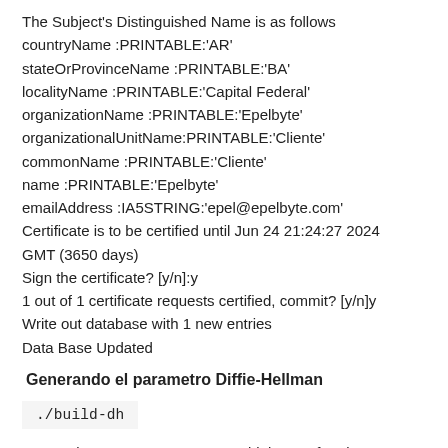The Subject's Distinguished Name is as follows
countryName :PRINTABLE:'AR'
stateOrProvinceName :PRINTABLE:'BA'
localityName :PRINTABLE:'Capital Federal'
organizationName :PRINTABLE:'Epelbyte'
organizationalUnitName:PRINTABLE:'Cliente'
commonName :PRINTABLE:'Cliente'
name :PRINTABLE:'Epelbyte'
emailAddress :IA5STRING:'epel@epelbyte.com'
Certificate is to be certified until Jun 24 21:24:27 2024 GMT (3650 days)
Sign the certificate? [y/n]:y
1 out of 1 certificate requests certified, commit? [y/n]y
Write out database with 1 new entries
Data Base Updated
Generando el parametro Diffie-Hellman
./build-dh
Generating DH parameters, 1024 bit long safe prime,